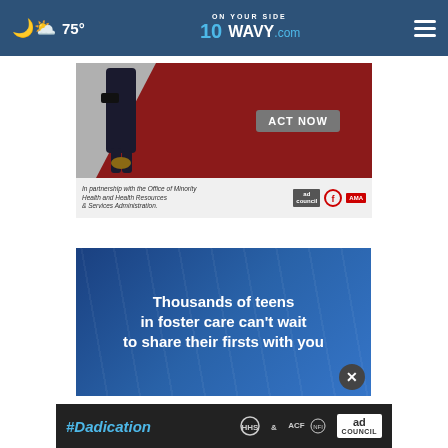75° | ON YOUR SIDE WAVY.com
[Figure (screenshot): ACT NOW advertisement banner with person walking, red background, logos from ad council, American Heart Association, and AMA. Text: 'In partnership with the Office of Minority Health and Health Resources & Services Administration.']
[Figure (screenshot): Foster care public service announcement: 'Thousands of teens in foster care can't wait to share their firsts with you' on blue background with close button.]
[Figure (screenshot): #Dadication bottom ad bar with HHS, ACF, National Responsible Fatherhood Clearinghouse, and Ad Council logos.]